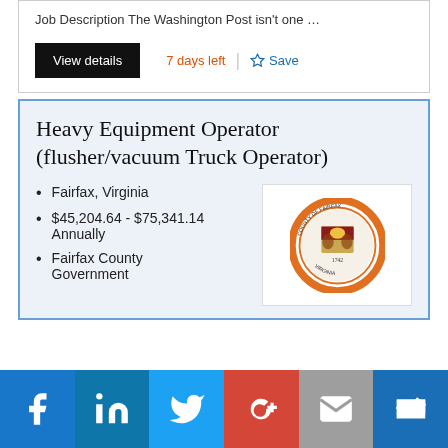Job Description The Washington Post isn't one …
View details
7 days left
Save
Heavy Equipment Operator (flusher/vacuum Truck Operator)
Fairfax, Virginia
$45,204.64 - $75,341.14 Annually
Fairfax County Government
[Figure (logo): Fairfax County Government seal — circular orange and white emblem with coat of arms, dated 1742, labeled COUNTY OF FAIRFAX VIRGINIA]